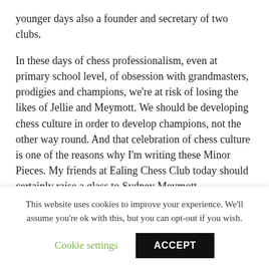younger days also a founder and secretary of two clubs.
In these days of chess professionalism, even at primary school level, of obsession with grandmasters, prodigies and champions, we're at risk of losing the likes of Jellie and Meymott. We should be developing chess culture in order to develop champions, not the other way round. And that celebration of chess culture is one of the reasons why I'm writing these Minor Pieces. My friends at Ealing Chess Club today should certainly raise a glass to Sydney Meymott.
Solutions:
1.
This website uses cookies to improve your experience. We'll assume you're ok with this, but you can opt-out if you wish.